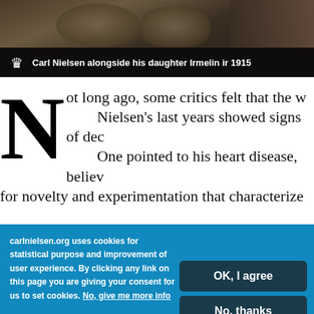[Figure (photo): Black and white photograph of Carl Nielsen alongside his daughter Irmelin in 1915]
Carl Nielsen alongside his daughter Irmelin in 1915
Not long ago, some critics felt that the w... Nielsen's last years showed signs of dec... One pointed to his heart disease, believ... for novelty and experimentation that characterize...
carlnielsen.org uses cookies for statistical purpose and improvement of user experience. By clicking any link on this page you are giving your consent for us to set cookies. No, give me more info
OK, I agree
No, thanks